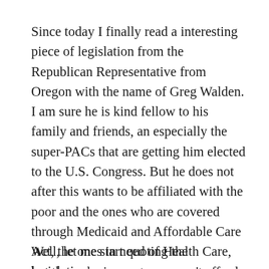Since today I finally read a interesting piece of legislation from the Republican Representative from Oregon with the name of Greg Walden. I am sure he is kind fellow to his family and friends, an especially the super-PACs that are getting him elected to the U.S. Congress. But he does not after this wants to be affiliated with the poor and the ones who are covered through Medicaid and Affordable Care Act, the ones in need of Health Care, but through circumstances can't afford healing or medicines. This is from the government that for all the people.
Well, let me start quoting the legislation.